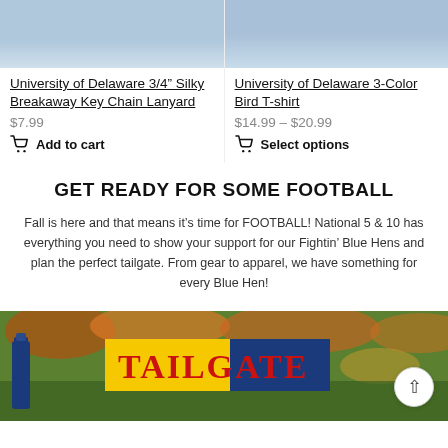[Figure (photo): Product image top strip - lanyard product photo (blue/gray tones)]
University of Delaware 3/4” Silky Breakaway Key Chain Lanyard
$7.99
Add to cart
[Figure (photo): Product image top strip - t-shirt product photo (blue/gray tones)]
University of Delaware 3-Color Bird T-shirt
$14.99 – $20.99
Select options
GET READY FOR SOME FOOTBALL
Fall is here and that means it’s time for FOOTBALL! National 5 & 10 has everything you need to show your support for our Fightin' Blue Hens and plan the perfect tailgate. From gear to apparel, we have something for every Blue Hen!
[Figure (photo): Tailgate promotional banner image with autumn foliage background, blue bottle, and TAILGATE text in yellow and blue blocks with red letters]